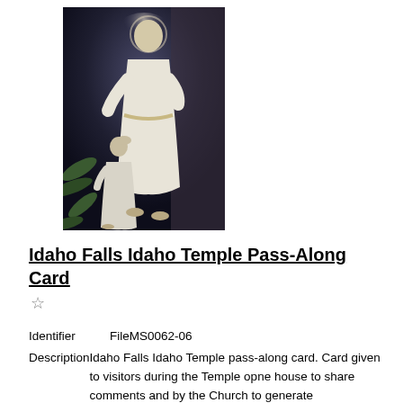[Figure (photo): Religious painting depicting Jesus Christ in white robes standing with a young child also in white, with plant foliage in the background.]
Idaho Falls Idaho Temple Pass-Along Card
☆
Identifier    FileMS0062-06
DescriptionIdaho Falls Idaho Temple pass-along card. Card given to visitors during the Temple opne house to share comments and by the Church to generate